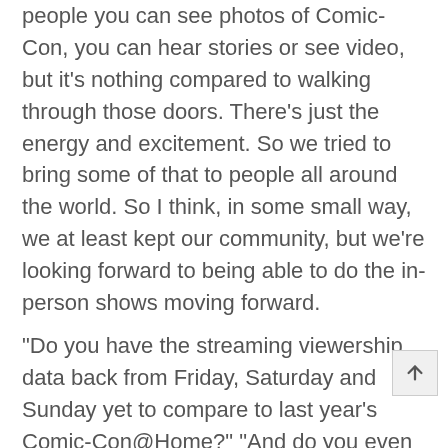people you can see photos of Comic-Con, you can hear stories or see video, but it's nothing compared to walking through those doors. There's just the energy and excitement. So we tried to bring some of that to people all around the world. So I think, in some small way, we at least kept our community, but we're looking forward to being able to do the in-person shows moving forward.
"Do you have the streaming viewership data back from Friday, Saturday and Sunday yet to compare to last year's Comic-Con@Home?" "And do you even care what the numbers are?"